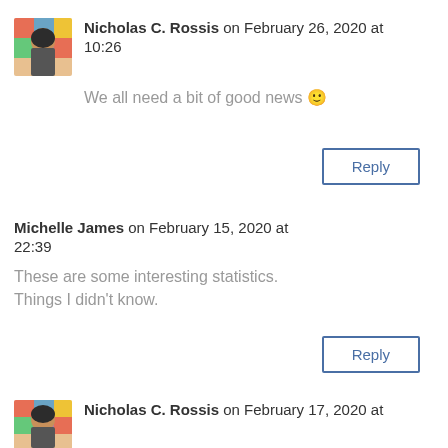Nicholas C. Rossis on February 26, 2020 at 10:26
We all need a bit of good news 🙂
Reply
Michelle James on February 15, 2020 at 22:39
These are some interesting statistics. Things I didn't know.
Reply
Nicholas C. Rossis on February 17, 2020 at